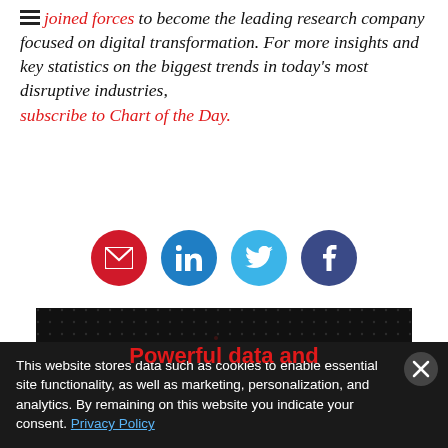have joined forces to become the leading research company focused on digital transformation. For more insights and key statistics on the biggest trends in today's most disruptive industries, subscribe to Chart of the Day.
[Figure (infographic): Social share buttons: email (red), LinkedIn (blue), Twitter (light blue), Facebook (dark blue)]
[Figure (photo): Dark banner image with dot-map world background and red bold text reading 'Powerful data and']
This website stores data such as cookies to enable essential site functionality, as well as marketing, personalization, and analytics. By remaining on this website you indicate your consent. Privacy Policy